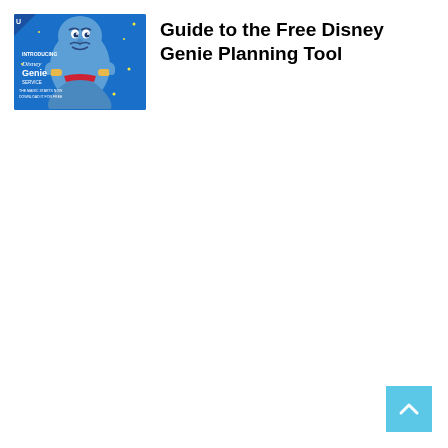[Figure (illustration): Disney Genie Planning Tool promotional image showing the blue Genie character from Aladdin on a blue background with stars, with text 'Introducing Disney Genie Service' and app download prompt]
Guide to the Free Disney Genie Planning Tool